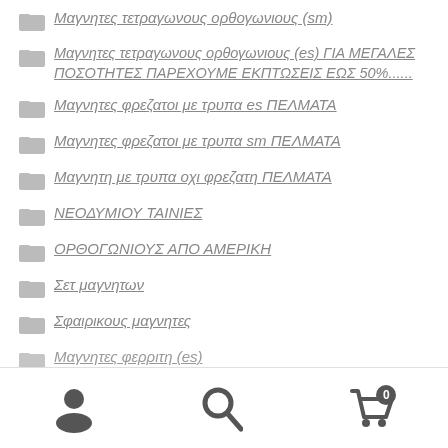Μαγνητες τετραγωνους ορθογωνιους (sm)
Μαγνητες τετραγωνους ορθογωνιους (es) ΓΙΑ ΜΕΓΑΛΕΣ ΠΟΣΟΤΗΤΕΣ ΠΑΡΕΧΟΥΜΕ ΕΚΠΤΩΣΕΙΣ ΕΩΣ 50%......
Μαγνητες φρεζατοι με τρυπα es ΠΕΛΜΑΤΑ
Μαγνητες φρεζατοι με τρυπα sm ΠΕΛΜΑΤΑ
Μαγνητη με τρυπα οχι φρεζατη ΠΕΛΜΑΤΑ
ΝΕΟΔΥΜΙΟΥ ΤΑΙΝΙΕΣ
ΟΡΘΟΓΩΝΙΟΥΣ ΑΠΟ ΑΜΕΡΙΚΗ
Σετ μαγνητων
Σφαιρικους μαγνητες
Μαγνητες φερριτη (es)
Navigation bar with user, search, and cart icons